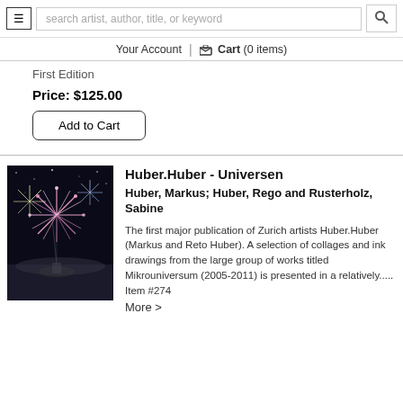search artist, author, title, or keyword | Your Account | Cart (0 items)
First Edition
Price: $125.00
Add to Cart
Huber.Huber - Universen
Huber, Markus; Huber, Rego and Rusterholz, Sabine
The first major publication of Zurich artists Huber.Huber (Markus and Reto Huber). A selection of collages and ink drawings from the large group of works titled Mikrouniversum (2005-2011) is presented in a relatively..... Item #274
More >